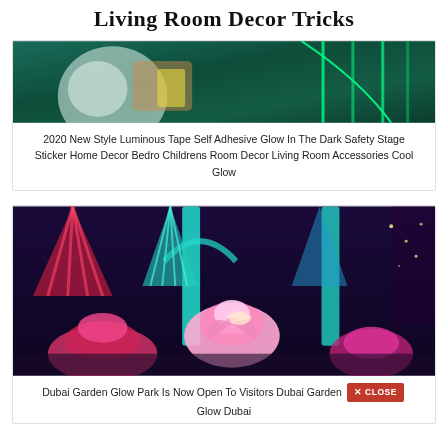Living Room Decor Tricks
[Figure (photo): Green neon/glow scene with person holding luminous objects against dark teal background]
2020 New Style Luminous Tape Self Adhesive Glow In The Dark Safety Stage Sticker Home Decor Bedro Childrens Room Decor Living Room Accessories Cool Glow
[Figure (photo): Dubai Garden Glow Park illuminated display with large colorful glowing lotus flowers, teal pillars, pink and purple decorations at night]
Dubai Garden Glow Park Is Now Open To Visitors Dubai Garden Glow Dubai [CLOSE button overlaid]